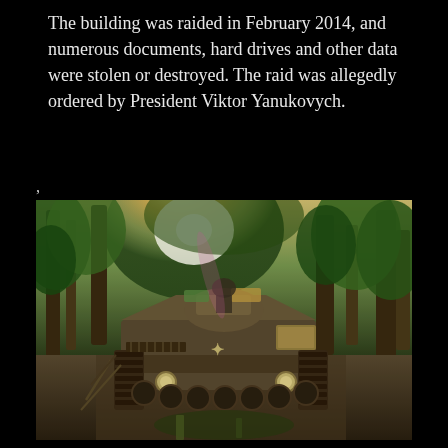The building was raided in February 2014, and numerous documents, hard drives and other data were stolen or destroyed. The raid was allegedly ordered by President Viktor Yanukovych.
,
[Figure (photo): A military armored vehicle (APC/BMP) photographed from the front, parked or stalled on a dirt path surrounded by trees and vegetation with bright sunlight filtering through the canopy.]